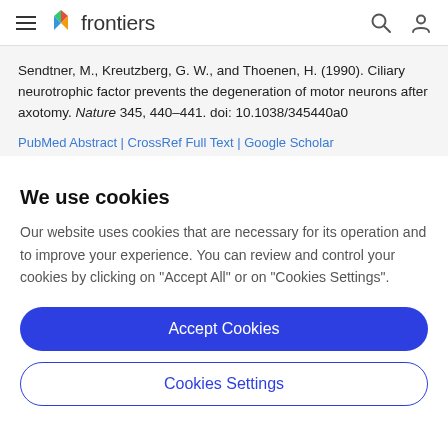frontiers
Sendtner, M., Kreutzberg, G. W., and Thoenen, H. (1990). Ciliary neurotrophic factor prevents the degeneration of motor neurons after axotomy. Nature 345, 440–441. doi: 10.1038/345440a0
We use cookies
Our website uses cookies that are necessary for its operation and to improve your experience. You can review and control your cookies by clicking on "Accept All" or on "Cookies Settings".
Accept Cookies
Cookies Settings